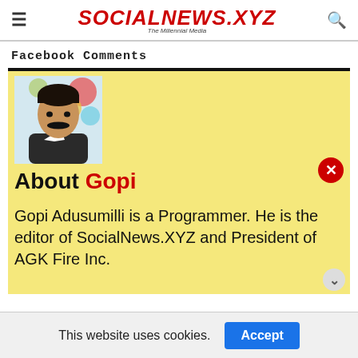SOCIALNEWS.XYZ — The Millennial Media
Facebook Comments
[Figure (photo): Profile photo of Gopi Adusumilli, a man with a mustache in formal attire against a colorful background]
About Gopi
Gopi Adusumilli is a Programmer. He is the editor of SocialNews.XYZ and President of AGK Fire Inc.
This website uses cookies.